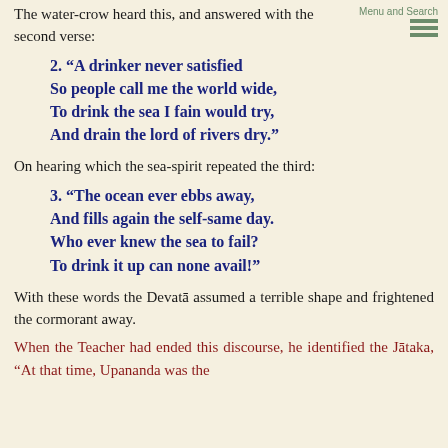The water-crow heard this, and answered with the second verse:
2. “A drinker never satisfied
So people call me the world wide,
To drink the sea I fain would try,
And drain the lord of rivers dry.”
On hearing which the sea-spirit repeated the third:
3. “The ocean ever ebbs away,
And fills again the self-same day.
Who ever knew the sea to fail?
To drink it up can none avail!”
With these words the Devatā assumed a terrible shape and frightened the cormorant away.
When the Teacher had ended this discourse, he identified the Jātaka, “At that time, Upananda was the